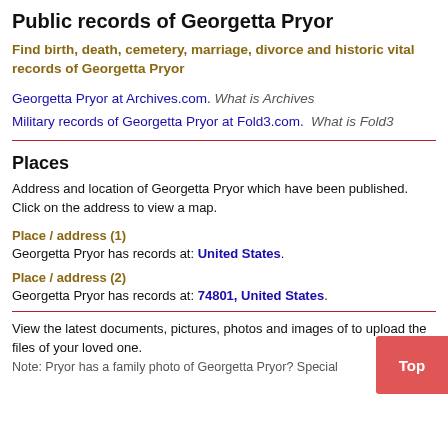Public records of Georgetta Pryor
Find birth, death, cemetery, marriage, divorce and historic vital records of Georgetta Pryor
Georgetta Pryor at Archives.com. What is Archives
Military records of Georgetta Pryor at Fold3.com. What is Fold3
Places
Address and location of Georgetta Pryor which have been published. Click on the address to view a map.
Place / address (1)
Georgetta Pryor has records at: United States.
Place / address (2)
Georgetta Pryor has records at: 74801, United States.
View the latest documents, pictures, photos and images of to upload the files of your loved one.
Note: Pryor has a family photo of Georgetta Pryor? Special